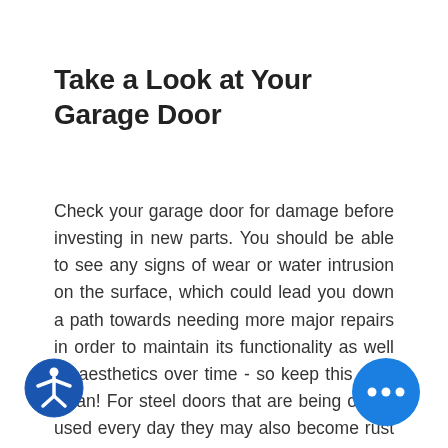Take a Look at Your Garage Door
Check your garage door for damage before investing in new parts. You should be able to see any signs of wear or water intrusion on the surface, which could lead you down a path towards needing more major repairs in order to maintain its functionality as well as aesthetics over time - so keep this area clean! For steel doors that are being oldest used every day they may also become rust d... throughout their length near